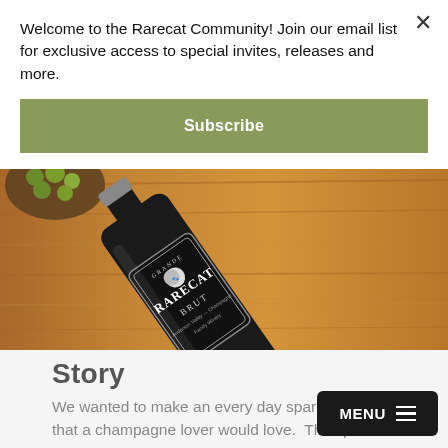Welcome to the Rarecat Community! Join our email list for exclusive access to special invites, releases and more.
Subscribe
[Figure (photo): Close-up photo of a Rarecat Grande Cuvee Brut sparkling wine bottle lying on a wooden surface with olives visible in background]
Story
We wanted to make an every day sparkling that a champagne lover would love.  The spa had to be aromatic, crisp, clean, and delightful.
MENU ≡